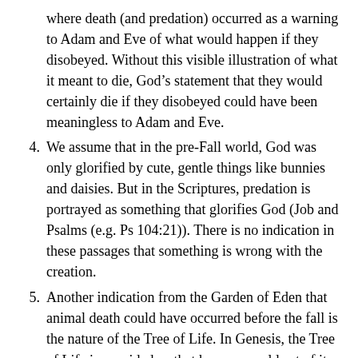where death (and predation) occurred as a warning to Adam and Eve of what would happen if they disobeyed. Without this visible illustration of what it meant to die, God's statement that they would certainly die if they disobeyed could have been meaningless to Adam and Eve.
4. We assume that in the pre-Fall world, God was only glorified by cute, gentle things like bunnies and daisies. But in the Scriptures, predation is portrayed as something that glorifies God (Job and Psalms (e.g. Ps 104:21)). There is no indication in these passages that something is wrong with the creation.
5. Another indication from the Garden of Eden that animal death could have occurred before the fall is the nature of the Tree of Life. In Genesis, the Tree of Life is provided so that humans could eat of it